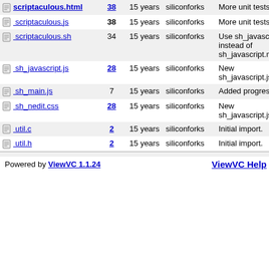| Name | Rev | Age | Author | Last log entry |
| --- | --- | --- | --- | --- |
| scriptaculous.html | 38 | 15 years | siliconforks | More unit tests. |
| scriptaculous.js | 38 | 15 years | siliconforks | More unit tests. |
| scriptaculous.sh | 34 | 15 years | siliconforks | Use sh_javascript.js instead of sh_javascript.mi |
| sh_javascript.js | 28 | 15 years | siliconforks | New sh_javascript.js. |
| sh_main.js | 7 | 15 years | siliconforks | Added progress bar. |
| sh_nedit.css | 28 | 15 years | siliconforks | New sh_javascript.js. |
| util.c | 2 | 15 years | siliconforks | Initial import. |
| util.h | 2 | 15 years | siliconforks | Initial import. |
ViewVC Help
Powered by ViewVC 1.1.24